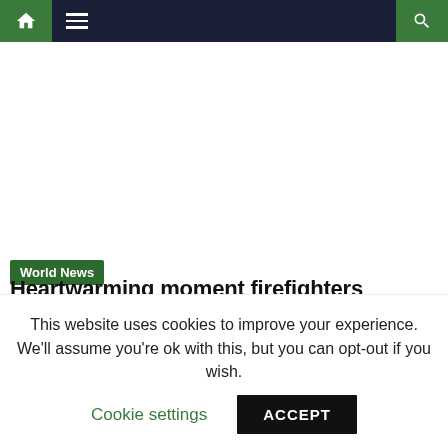Navigation bar with home, menu, and search
[Figure (other): Advertisement placeholder area (blank white space)]
World News
Heartwarming moment firefighters rescue dog after three days trapped underground
This website uses cookies to improve your experience. We'll assume you're ok with this, but you can opt-out if you wish. Cookie settings ACCEPT